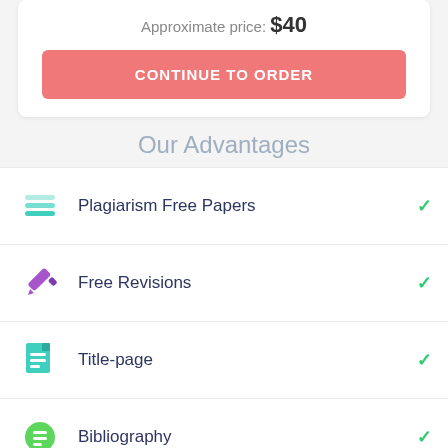Approximate price: $40
CONTINUE TO ORDER
Our Advantages
Plagiarism Free Papers
Free Revisions
Title-page
Bibliography